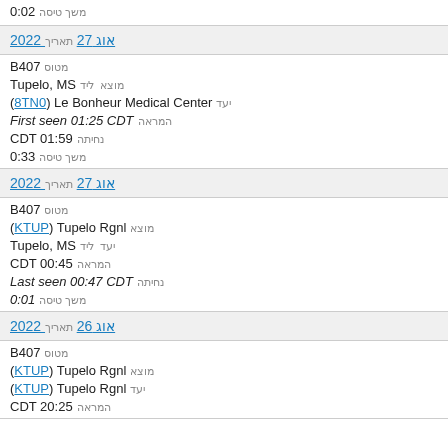0:02 משך טיסה
תאריך 27 אוג 2022
מטוס B407
מוצא Tupelo, MS ליד
יעד (8TN0) Le Bonheur Medical Center
המראה First seen 01:25 CDT
נחיתה CDT 01:59
משך טיסה 0:33
תאריך 27 אוג 2022
מטוס B407
מוצא (KTUP) Tupelo Rgnl
יעד Tupelo, MS ליד
המראה CDT 00:45
נחיתה Last seen 00:47 CDT
משך טיסה 0:01
תאריך 26 אוג 2022
מטוס B407
מוצא (KTUP) Tupelo Rgnl
יעד (KTUP) Tupelo Rgnl
המראה CDT 20:25